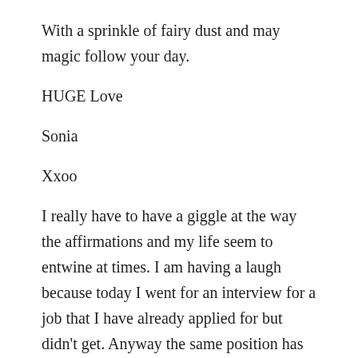With a sprinkle of fairy dust and may magic follow your day.
HUGE Love
Sonia
Xxoo
I really have to have a giggle at the way the affirmations and my life seem to entwine at times. I am having a laugh because today I went for an interview for a job that I have already applied for but didn't get. Anyway the same position has come up a few months later and today was the interview